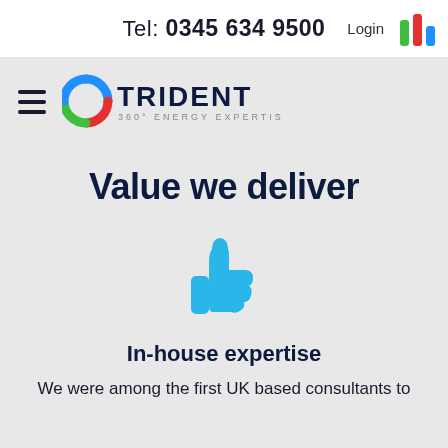Tel: 0345 634 9500   Login
[Figure (logo): Trident 360° Energy Expertise logo with circular multicolor icon and hamburger menu]
Value we deliver
[Figure (illustration): Blue thumbs up icon]
In-house expertise
We were among the first UK based consultants to